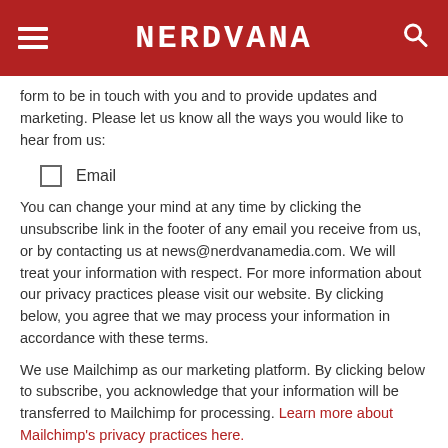NERDVANA
form to be in touch with you and to provide updates and marketing. Please let us know all the ways you would like to hear from us:
☐ Email
You can change your mind at any time by clicking the unsubscribe link in the footer of any email you receive from us, or by contacting us at news@nerdvanamedia.com. We will treat your information with respect. For more information about our privacy practices please visit our website. By clicking below, you agree that we may process your information in accordance with these terms.
We use Mailchimp as our marketing platform. By clicking below to subscribe, you acknowledge that your information will be transferred to Mailchimp for processing. Learn more about Mailchimp's privacy practices here.